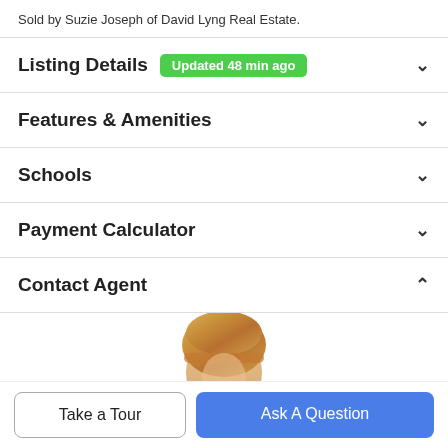Sold by Suzie Joseph of David Lyng Real Estate.
Listing Details Updated 48 min ago
Features & Amenities
Schools
Payment Calculator
Contact Agent
[Figure (photo): Agent profile photo, partially visible, showing the top of a person's head with blonde/golden hair]
Take a Tour
Ask A Question